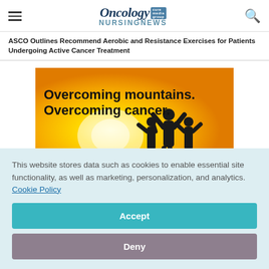Oncology NURSING NEWS
ASCO Outlines Recommend Aerobic and Resistance Exercises for Patients Undergoing Active Cancer Treatment
[Figure (illustration): Advertisement banner with golden/yellow sunset background showing silhouettes of three people with arms raised in triumph. Bold black text reads 'Overcoming mountains. Overcoming cancer.']
This website stores data such as cookies to enable essential site functionality, as well as marketing, personalization, and analytics. Cookie Policy
Accept
Deny